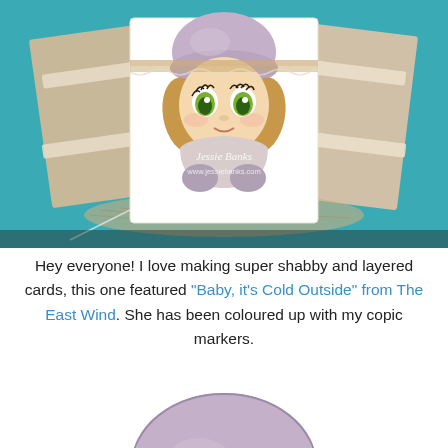[Figure (photo): A crafted greeting card featuring an illustrated big-eyed girl wearing a lavender knit hat and holding mittens, with watermark text 'Jessie Banks www.jessiebanks.com'. The card is displayed on layered shabby chic craft materials including burlap, lace, and netting, set against a teal background.]
Hey everyone! I love making super shabby and layered cards, this one featured "Baby, it's Cold Outside" from The East Wind. She has been coloured up with my copic markers.
[Figure (photo): Close-up partial view of the illustrated girl character showing mainly the lavender knit hat and top of the head, cropped at the bottom of the page.]